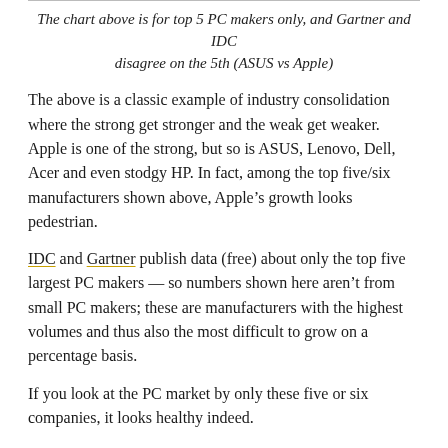The chart above is for top 5 PC makers only, and Gartner and IDC disagree on the 5th (ASUS vs Apple)
The above is a classic example of industry consolidation where the strong get stronger and the weak get weaker. Apple is one of the strong, but so is ASUS, Lenovo, Dell, Acer and even stodgy HP. In fact, among the top five/six manufacturers shown above, Apple’s growth looks pedestrian.
IDC and Gartner publish data (free) about only the top five largest PC makers — so numbers shown here aren’t from small PC makers; these are manufacturers with the highest volumes and thus also the most difficult to grow on a percentage basis.
If you look at the PC market by only these five or six companies, it looks healthy indeed.
It’s “other” manufacturers who are suffering. They are the ones getting clobbered by the big boys so it’s no wonder they are withdrawing from the market.